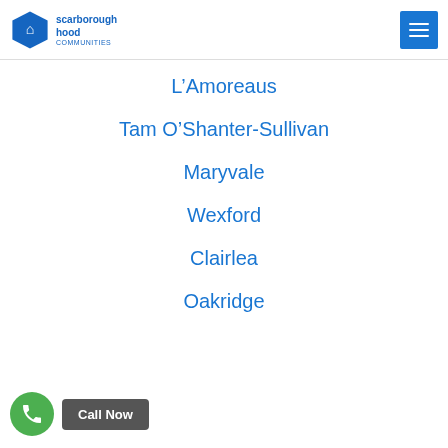scarborough hood
L'Amoreaus
Tam O'Shanter-Sullivan
Maryvale
Wexford
Clairlea
Oakridge